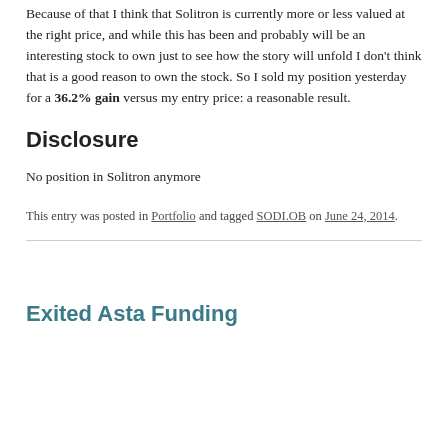Because of that I think that Solitron is currently more or less valued at the right price, and while this has been and probably will be an interesting stock to own just to see how the story will unfold I don't think that is a good reason to own the stock. So I sold my position yesterday for a 36.2% gain versus my entry price: a reasonable result.
Disclosure
No position in Solitron anymore
This entry was posted in Portfolio and tagged SODI.OB on June 24, 2014.
Exited Asta Funding